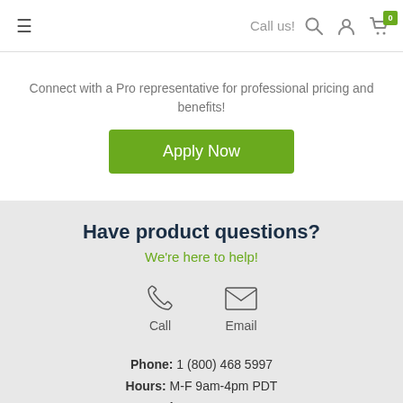☰  Call us!  🔍  👤  🛒 0
Connect with a Pro representative for professional pricing and benefits!
Apply Now
Have product questions?
We're here to help!
Call
Email
Phone: 1 (800) 468 5997
Hours: M-F 9am-4pm PDT
Product No: XC600